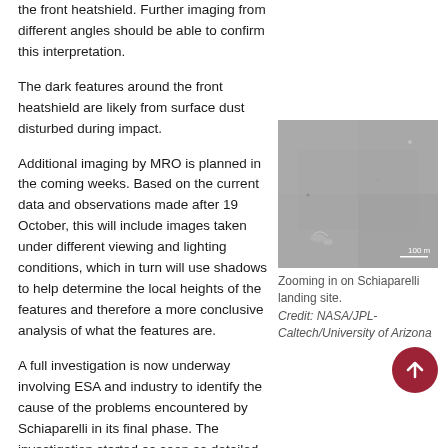the front heatshield. Further imaging from different angles should be able to confirm this interpretation.
The dark features around the front heatshield are likely from surface dust disturbed during impact.
Additional imaging by MRO is planned in the coming weeks. Based on the current data and observations made after 19 October, this will include images taken under different viewing and lighting conditions, which in turn will use shadows to help determine the local heights of the features and therefore a more conclusive analysis of what the features are.
[Figure (photo): Satellite image of Schiaparelli landing site on Mars, gray surface with faint marks, scale bar showing 100 m in bottom right corner.]
Zooming in on Schiaparelli landing site. Credit: NASA/JPL-Caltech/University of Arizona
A full investigation is now underway involving ESA and industry to identify the cause of the problems encountered by Schiaparelli in its final phase. The investigation started as soon as detailed telemetry transmitted by Schiaparelli during its descent had